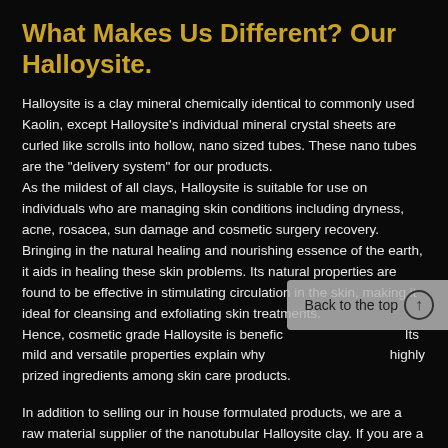What Makes Us Different? Our Halloysite.
Halloysite is a clay mineral chemically identical to commonly used Kaolin, except Halloysite's individual mineral crystal sheets are curled like scrolls into hollow, nano sized tubes. These nano tubes are the "delivery system" for our products.
As the mildest of all clays, Halloysite is suitable for use on individuals who are managing skin conditions including dryness, acne, rosacea, sun damage and cosmetic surgery recovery.
Bringing in the natural healing and nourishing essence of the earth, it aids in healing these skin problems. Its natural properties are found to be effective in stimulating circulation in the skin, making it ideal for cleansing and exfoliating skin treatments.
Hence, cosmetic grade Halloysite is beneficial for all skin types. Its mild and versatile properties explain why it is one of the most highly prized ingredients among skin care products.
In addition to selling our in house formulated products, we are a raw material supplier of the nanotubular Halloysite clay. If you are a cosmetic, personal care, nutritional health or